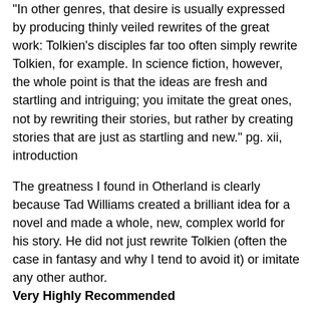"In other genres, that desire is usually expressed by producing thinly veiled rewrites of the great work: Tolkien's disciples far too often simply rewrite Tolkien, for example. In science fiction, however, the whole point is that the ideas are fresh and startling and intriguing; you imitate the great ones, not by rewriting their stories, but rather by creating stories that are just as startling and new." pg. xii, introduction
The greatness I found in Otherland is clearly because Tad Williams created a brilliant idea for a novel and made a whole, new, complex world for his story. He did not just rewrite Tolkien (often the case in fantasy and why I tend to avoid it) or imitate any other author.
Very Highly Recommended
Quotes:
"I know. I hate the bastard-I'd like to throw him off the mountain myself. But we're going to have to live with Felix Jongleur until we get some answers to what's going on. What's that old saying about keeping your friends close and your enemies closer?" Renie squeezed the girl's arm. "This is a war, Sam. Not just a single battle. Putting up with that...